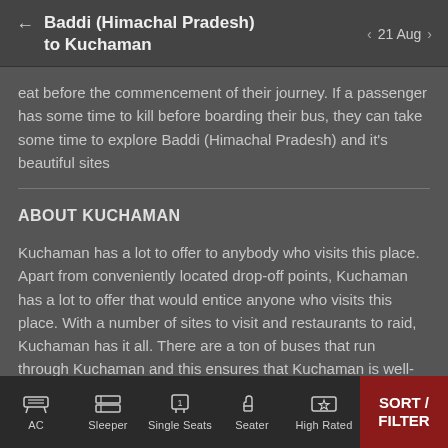Baddi (Himachal Pradesh) to Kuchaman — 21 Aug
eat before the commencement of their journey. If a passenger has some time to kill before boarding their bus, they can take some time to explore Baddi (Himachal Pradesh) and it's beautiful sites
ABOUT KUCHAMAN
Kuchaman has a lot to offer to anybody who visits this place. Apart from conveniently located drop-off points, Kuchaman has a lot to offer that would entice anyone who visits this place. With a number of sites to visit and restaurants to raid, Kuchaman has it all. There are a ton of buses that run through Kuchaman and this ensures that Kuchaman is well-connected to the rest of the country.
AC | Sleeper | Single Seats | Seater | High Rated | SORT / FILTER